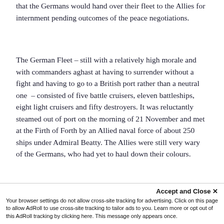that the Germans would hand over their fleet to the Allies for internment pending outcomes of the peace negotiations.
The German Fleet – still with a relatively high morale and with commanders aghast at having to surrender without a fight and having to go to a British port rather than a neutral one – consisted of five battle cruisers, eleven battleships, eight light cruisers and fifty destroyers. It was reluctantly steamed out of port on the morning of 21 November and met at the Firth of Forth by an Allied naval force of about 250 ships under Admiral Beatty. The Allies were still very wary of the Germans, who had yet to haul down their colours.
[Figure (photo): Black and white photograph of ships, partially visible at bottom of page.]
Accept and Close ✕
Your browser settings do not allow cross-site tracking for advertising. Click on this page to allow AdRoll to use cross-site tracking to tailor ads to you. Learn more or opt out of this AdRoll tracking by clicking here. This message only appears once.